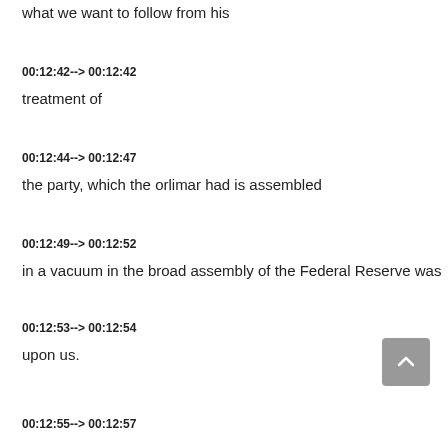what we want to follow from his
00:12:42--> 00:12:42
treatment of
00:12:44--> 00:12:47
the party, which the orlimar had is assembled
00:12:49--> 00:12:52
in a vacuum in the broad assembly of the Federal Reserve was
00:12:53--> 00:12:54
upon us.
00:12:55--> 00:12:57